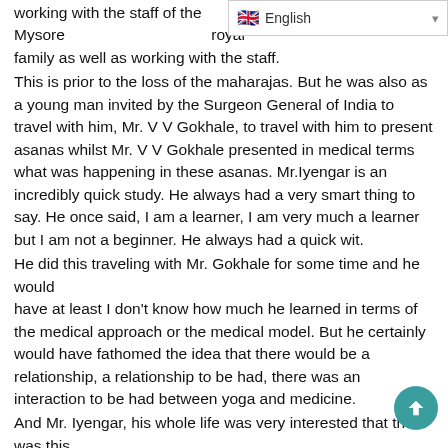working with the staff of the Mysore royal family as well as working with the staff. This is prior to the loss of the maharajas. But he was also as a young man invited by the Surgeon General of India to travel with him, Mr. V V Gokhale, to travel with him to present asanas whilst Mr. V V Gokhale presented in medical terms what was happening in these asanas. Mr.Iyengar is an incredibly quick study. He always had a very smart thing to say. He once said, I am a learner, I am very much a learner but I am not a beginner. He always had a quick wit. He did this traveling with Mr. Gokhale for some time and he would have at least I don't know how much he learned in terms of the medical approach or the medical model. But he certainly would have fathomed the idea that there would be a relationship, a relationship to be had, there was an interaction to be had between yoga and medicine. And Mr. Iyengar, his whole life was very interested that there was this conversation between the two. What has happened, Mr. Iyengar has wanted to converse with modern medicine for years. About yoga, about the benefits of yoga but in trying to speak, in trying to get heard, it is inevitable that he ends up needing to